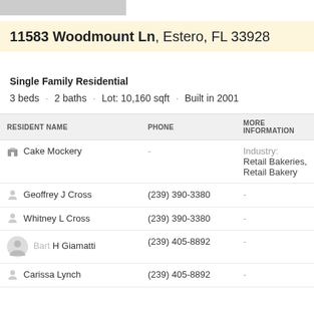11583 Woodmount Ln, Estero, FL 33928
Single Family Residential
3 beds · 2 baths · Lot: 10,160 sqft · Built in 2001
| RESIDENT NAME | PHONE | MORE INFORMATION |
| --- | --- | --- |
| Cake Mockery | - | Industry: Retail Bakeries, Retail Bakery |
| Geoffrey J Cross | (239) 390-3380 | - |
| Whitney L Cross | (239) 390-3380 | - |
| Bart H Giamatti | (239) 405-8892 | - |
| Carissa Lynch | (239) 405-8892 | - |